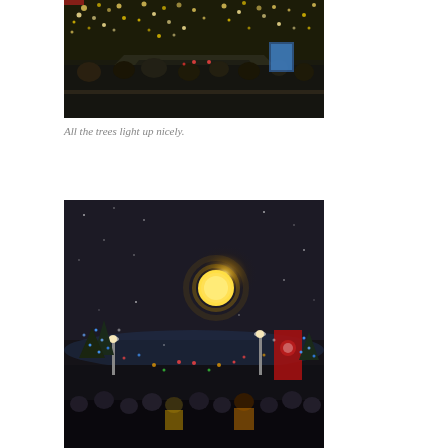[Figure (photo): Night photo taken from the top deck of an open-top bus on a tree-lined avenue. Trees are illuminated with warm white fairy lights. Passengers visible in seats, city street visible ahead with car lights and an illuminated billboard.]
All the trees light up nicely.
[Figure (photo): Night cityscape with a large glowing full moon visible in a dark sky. Below, a wide city boulevard with street lights, Christmas tree decorations, colorful lights, a red banner/flag, and crowds of people in winter coats in the foreground.]